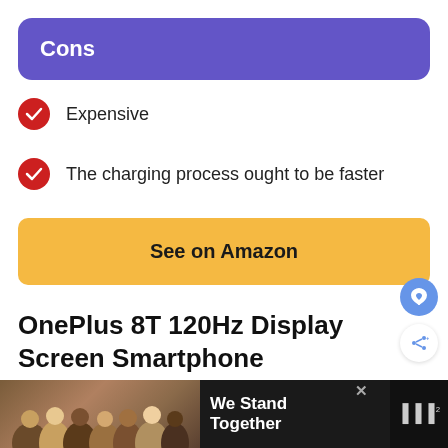Cons
Expensive
The charging process ought to be faster
See on Amazon
OnePlus 8T 120Hz Display Screen Smartphone